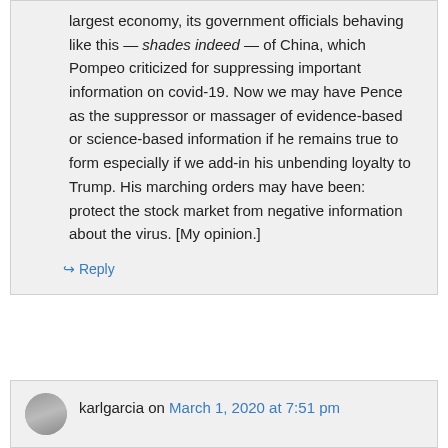behaving like this — shades indeed — of China, which Pompeo criticized for suppressing important information on covid-19. Now we may have Pence as the suppressor or massager of evidence-based or science-based information if he remains true to form especially if we add-in his unbending loyalty to Trump. His marching orders may have been: protect the stock market from negative information about the virus. [My opinion.]
↪ Reply
karlgarcia on March 1, 2020 at 7:51 pm